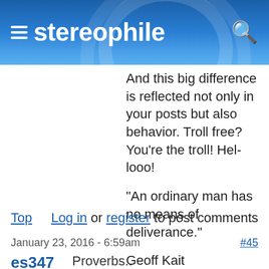stereophile
And this big difference is reflected not only in your posts but also behavior. Troll free? You're the troll! Hel-looo!

"An ordinary man has no means of deliverance."

Geoff Kait
Machina Dynamica
Top   Log in or register to post comments
January 23, 2016 - 6:59am   #45
es347   Proverbs..